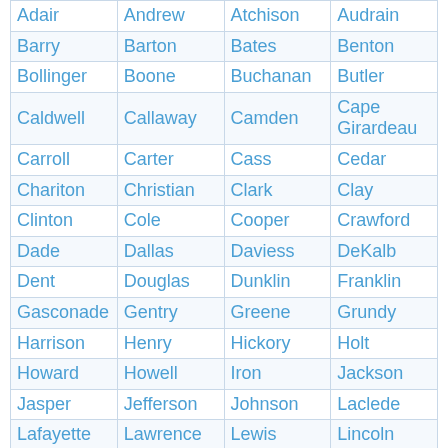| Adair | Andrew | Atchison | Audrain |
| Barry | Barton | Bates | Benton |
| Bollinger | Boone | Buchanan | Butler |
| Caldwell | Callaway | Camden | Cape Girardeau |
| Carroll | Carter | Cass | Cedar |
| Chariton | Christian | Clark | Clay |
| Clinton | Cole | Cooper | Crawford |
| Dade | Dallas | Daviess | DeKalb |
| Dent | Douglas | Dunklin | Franklin |
| Gasconade | Gentry | Greene | Grundy |
| Harrison | Henry | Hickory | Holt |
| Howard | Howell | Iron | Jackson |
| Jasper | Jefferson | Johnson | Laclede |
| Lafayette | Lawrence | Lewis | Lincoln |
| Linn | Livingston | Macon | Madison |
| Maries | Marion | McDonald | Miller |
| Mississip | Moniteau | Monroe | Montgomer |